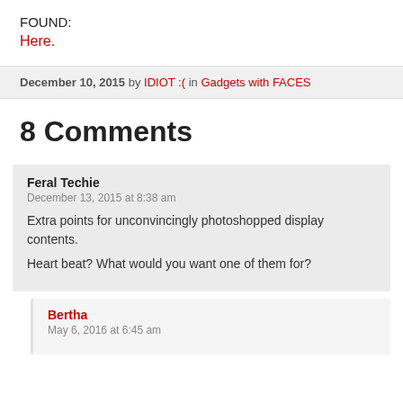FOUND:
Here.
December 10, 2015 by IDIOT :( in Gadgets with FACES
8 Comments
Feral Techie
December 13, 2015 at 8:38 am
Extra points for unconvincingly photoshopped display contents.
Heart beat? What would you want one of them for?
Bertha
May 6, 2016 at 6:45 am